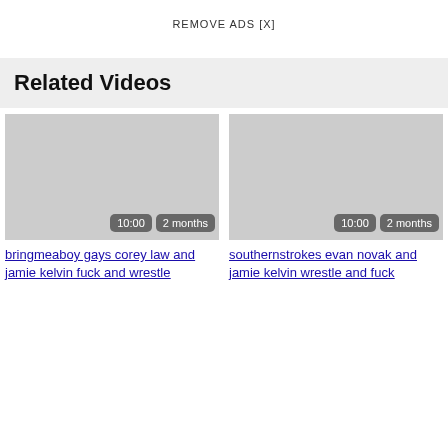REMOVE ADS [X]
Related Videos
[Figure (screenshot): Video thumbnail placeholder (gray rectangle) with badges '10:00' and '2 months']
bringmeaboy gays corey law and jamie kelvin fuck and wrestle
[Figure (screenshot): Video thumbnail placeholder (gray rectangle) with badges '10:00' and '2 months']
southernstrokes evan novak and jamie kelvin wrestle and fuck